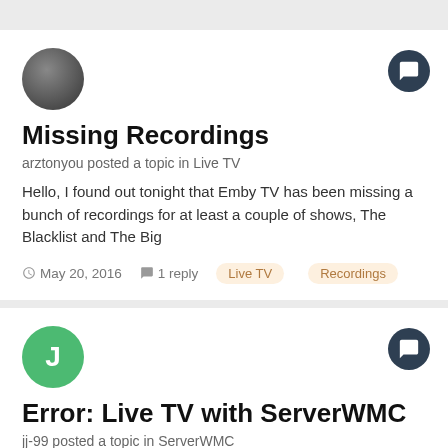[Figure (photo): Circular avatar photo of a person with dark hair]
Missing Recordings
arztonyou posted a topic in Live TV
Hello, I found out tonight that Emby TV has been missing a bunch of recordings for at least a couple of shows, The Blacklist and The Big
May 20, 2016   1 reply   Live TV   Recordings
[Figure (illustration): Green circle with white letter J as avatar]
Error: Live TV with ServerWMC
jj-99 posted a topic in ServerWMC
Hi - I just recently "caught the bug" and added Emby to my HTPC with External HDHomeRun EXTEND tuners set. Everything is working OK